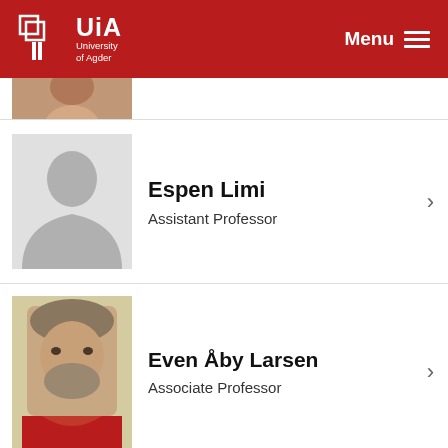UiA University of Agder | Menu
[Figure (photo): Partial photo of a person at the top of the list, cropped at top]
Espen Limi
Assistant Professor
Even Åby Larsen
Associate Professor
Frank Danielsen
PhD Research Fellow